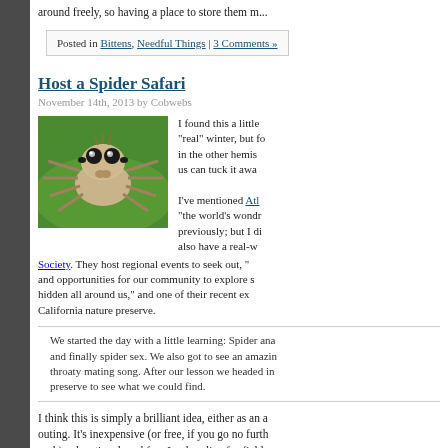around freely, so having a place to store them m...
Posted in Bittens, Needful Things | 3 Comments »
Host a Spider Safari
November 14th, 2013 by Cobwebs
[Figure (photo): Close-up photo of a jumping spider on a green leaf, with large forward-facing eyes and fuzzy body]
I found this a little "real" winter, but for in the other hemis... us can tuck it awa...
I've mentioned Atl... "the world's wondr... previously; but I di... also have a real-w... Society. They host regional events to seek out, and opportunities for our community to explore s... hidden all around us," and one of their recent ex... California nature preserve.
We started the day with a little learning: Spider ana... and finally spider sex. We also got to see an amazin... throaty mating song. After our lesson we headed in... preserve to see what we could find.
I think this is simply a brilliant idea, either as an a... outing. It's inexpensive (or free, if you go no furth... park), educational, and fun. Look online for field ... in your region, pack a lunch, and go spider-hunti... for them, it's surprising how abundant they are.